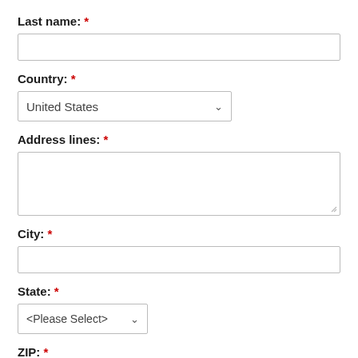Last name: *
[Figure (other): Text input field for last name]
Country: *
[Figure (other): Dropdown select field showing 'United States']
Address lines: *
[Figure (other): Textarea input field for address lines]
City: *
[Figure (other): Text input field for city]
State: *
[Figure (other): Dropdown select field showing '<Please Select>']
ZIP: *